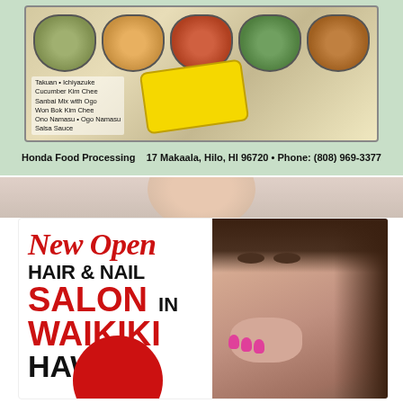[Figure (photo): Food products photo showing multiple containers of Honda Food Processing products including Takuan, Ichiyazuke, Cucumber Kim Chee, Sanbai Mix with Ogo, Won Bok Kim Chee, Ono Namasu, Ogo Namasu, Salsa Sauce, with a yellow product bag in the center]
Takuan • Ichiyazuke
Cucumber Kim Chee
Sanbai Mix with Ogo
Won Bok Kim Chee
Ono Namasu • Ogo Namasu
Salsa Sauce
Honda Food Processing    17 Makaala, Hilo, HI 96720 • Phone: (808) 969-3377
[Figure (photo): Advertisement for a new Hair & Nail Salon in Waikiki Hawaii, featuring a woman with long dark hair covering her mouth with her hand showing pink nails, looking surprised. Text reads: New Open (in red script), HAIR & NAIL (in black bold), SALON IN (SALON in red, IN in black), WAIKIKI (in red bold), HAWAII (in black bold). Red circle at bottom.]